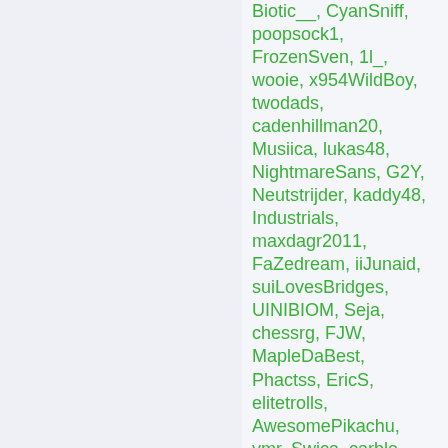Biotic__, CyanSniff, poopsock1, FrozenSven, 1l_, wooie, x954WildBoy, twodads, cadenhillman20, Musiica, lukas48, NightmareSans, G2Y, Neutstrijder, kaddy48, Industrials, maxdagr2011, FaZedream, iiJunaid, suiLovesBridges, UINIBIOM, Seja, chessrg, FJW, MapleDaBest, Phactss, EricS, elitetrolls, AwesomePikachu, ymr, Swica, carble, Kazukun, Chanplotwriter, SkillmaticK, sol3,